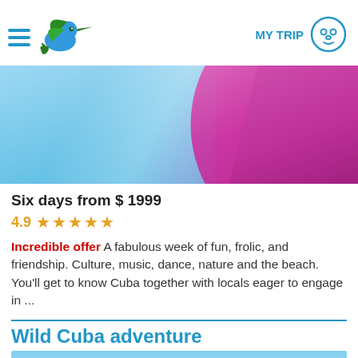MY TRIP
[Figure (photo): Hero image of a woman in a purple/magenta bikini at a beach with blue water background]
Six days from $ 1999
4.9 ★★★★★
Incredible offer A fabulous week of fun, frolic, and friendship. Culture, music, dance, nature and the beach. You'll get to know Cuba together with locals eager to engage in ...
Wild Cuba adventure
[Figure (photo): Rocky island or boulder emerging from blue water / sea under blue sky]